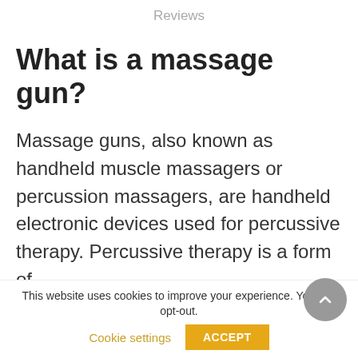Reviews
What is a massage gun?
Massage guns, also known as handheld muscle massagers or percussion massagers, are handheld electronic devices used for percussive therapy. Percussive therapy is a form of
This website uses cookies to improve your experience. You can opt-out. Cookie settings ACCEPT